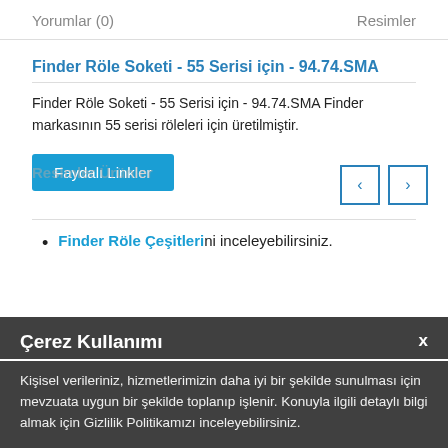Yorumlar (0)   Resimler
Finder Röle Soketi - 55 Serisi için - 94.74.SMA
Finder Röle Soketi - 55 Serisi için - 94.74.SMA Finder markasının 55 serisi röleleri için üretilmiştir.
Faydalı Linkler
Finder Röle Çeşitleri ni inceleyebilirsiniz.
Çerez Kullanımı
Kişisel verileriniz, hizmetlerimizin daha iyi bir şekilde sunulması için mevzuata uygun bir şekilde toplanıp işlenir. Konuyla ilgili detaylı bilgi almak için Gizlilik Politikamızı inceleyebilirsiniz.